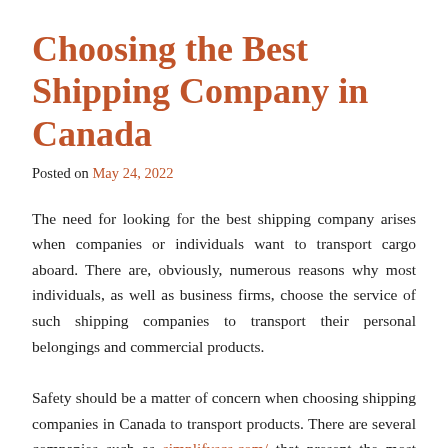Choosing the Best Shipping Company in Canada
Posted on May 24, 2022
The need for looking for the best shipping company arises when companies or individuals want to transport cargo aboard. There are, obviously, numerous reasons why most individuals, as well as business firms, choose the service of such shipping companies to transport their personal belongings and commercial products.
Safety should be a matter of concern when choosing shipping companies in Canada to transport products. There are several companies such as simplifyscs.com/ that...